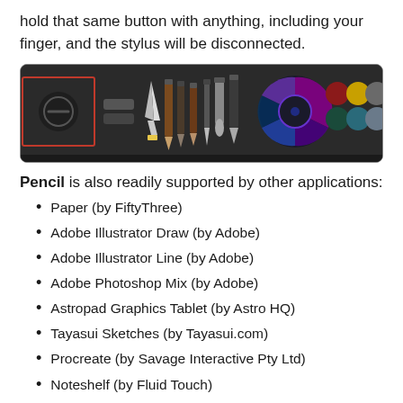hold that same button with anything, including your finger, and the stylus will be disconnected.
[Figure (screenshot): A dark toolbar showing various drawing tools including a pen nib, pencils, brushes, a color wheel, and color swatches on a dark background. The first tool (a no-entry circle icon) is highlighted with a red/orange border box.]
Pencil is also readily supported by other applications:
Paper (by FiftyThree)
Adobe Illustrator Draw (by Adobe)
Adobe Illustrator Line (by Adobe)
Adobe Photoshop Mix (by Adobe)
Astropad Graphics Tablet (by Astro HQ)
Tayasui Sketches (by Tayasui.com)
Procreate (by Savage Interactive Pty Ltd)
Noteshelf (by Fluid Touch)
Sketchbook (by Autodesk)
Mobile Mouse (by RPA Technology)